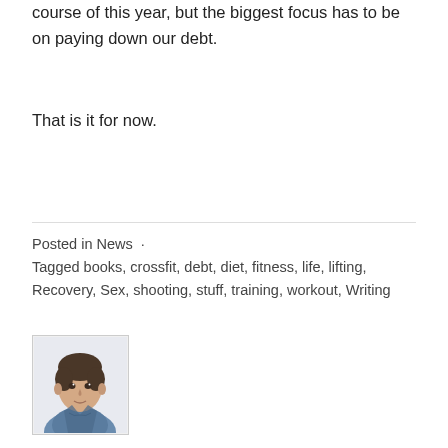course of this year, but the biggest focus has to be on paying down our debt.
That is it for now.
Posted in News  ·
Tagged books, crossfit, debt, diet, fitness, life, lifting, Recovery, Sex, shooting, stuff, training, workout, Writing
[Figure (illustration): Illustrated portrait of a man in a blue jacket, hand-drawn style, within a rectangular border]
Published by daviddwhite